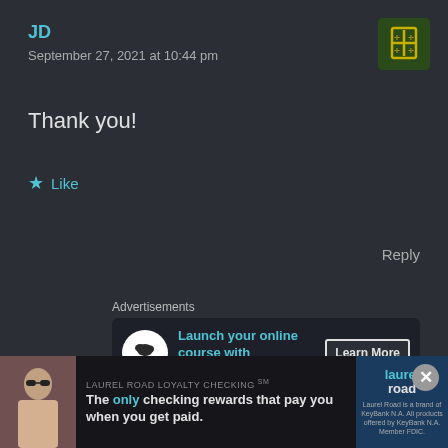JD
September 27, 2021 at 10:44 pm
Thank you!
★ Like
Reply
Advertisements
[Figure (infographic): Advertisement: Launch your online course with WordPress. Learn More button shown.]
REPORT THIS AD
Nick August
Advertisements
[Figure (infographic): Laurel Road Loyalty Checking advertisement. 'The only checking rewards that pay you when you get paid.' with Laurel Road logo.]